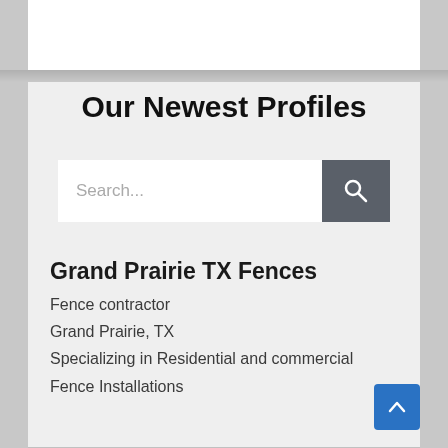Our Newest Profiles
Search...
Grand Prairie TX Fences
Fence contractor
Grand Prairie, TX
Specializing in Residential and commercial Fence Installations